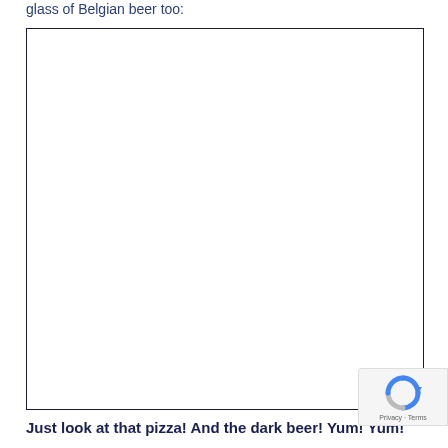glass of Belgian beer too:
[Figure (photo): A large empty white rectangle with a dark border, representing a placeholder image area (likely a photo of pizza and dark beer that failed to load).]
Just look at that pizza! And the dark beer! Yum! Yum!